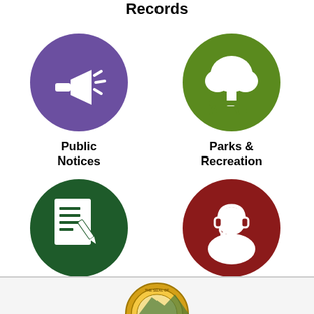Records
[Figure (illustration): Purple circle icon with a white megaphone/bullhorn with sound lines]
Public Notices
[Figure (illustration): Green circle icon with a white tree and picnic table]
Parks & Recreation
[Figure (illustration): Dark green circle icon with a white document and pen]
Requests for Qualifications and Proposals
[Figure (illustration): Dark red circle icon with a white customer service person with headset]
Request Services
[Figure (illustration): Partial view of a government seal at the bottom of the page]